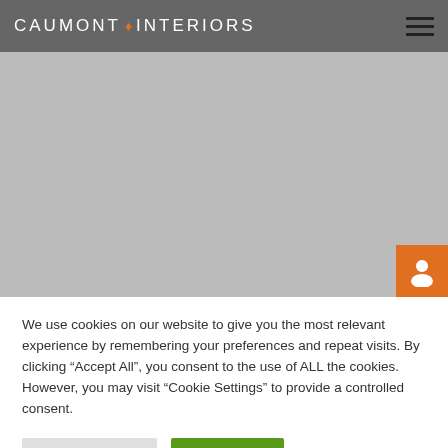CAUMONT INTERIORS
[Figure (photo): Grey placeholder hero image area]
We use cookies on our website to give you the most relevant experience by remembering your preferences and repeat visits. By clicking “Accept All”, you consent to the use of ALL the cookies. However, you may visit “Cookie Settings” to provide a controlled consent.
Cookie Settings | Accept All